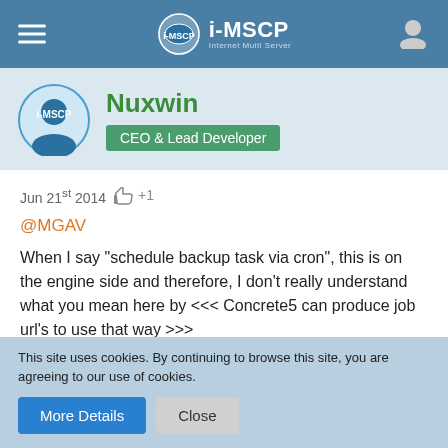i-MSCP header navigation bar
Nuxwin
CEO & Lead Developer
Jun 21st 2014  +1
@MGAV
When I say "schedule backup task via cron", this is on the engine side and therefore, I don't really understand what you mean here by <<< Concrete5 can produce job url's to use that way >>>
About the IO operations
The nice command allow to mitigate the CPU time consumption
This site uses cookies. By continuing to browse this site, you are agreeing to our use of cookies.